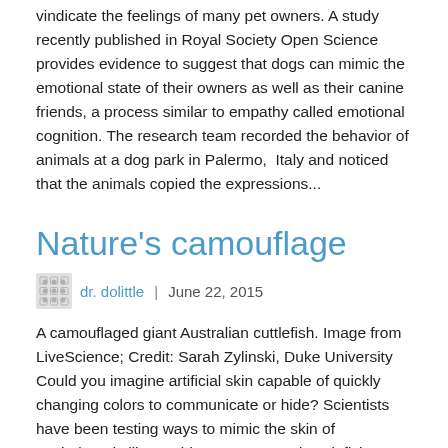vindicate the feelings of many pet owners. A study recently published in Royal Society Open Science provides evidence to suggest that dogs can mimic the emotional state of their owners as well as their canine friends, a process similar to empathy called emotional cognition. The research team recorded the behavior of animals at a dog park in Palermo, Italy and noticed that the animals copied the expressions...
Nature's camouflage
dr. dolittle  |  June 22, 2015
A camouflaged giant Australian cuttlefish. Image from LiveScience; Credit: Sarah Zylinski, Duke University Could you imagine artificial skin capable of quickly changing colors to communicate or hide? Scientists have been testing ways to mimic the skin of cephalopods like squid, octopuses and cuttlefish, which have a remarkable ability to change skin color and sometimes even texture to mimic their surroundings. Cephalopods have networks of chromatophores, which are cells within their skin that contain a pigment sac. Expanding these cells with the aid of muscles, makes the pigment expand...